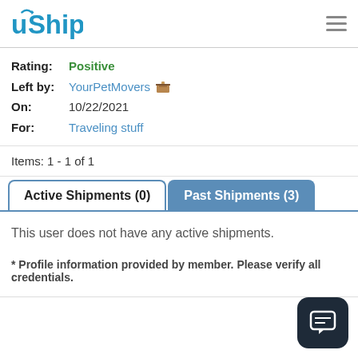uShip
Rating: Positive
Left by: YourPetMovers
On: 10/22/2021
For: Traveling stuff
Items: 1 - 1 of 1
Active Shipments (0)   Past Shipments (3)
This user does not have any active shipments.
* Profile information provided by member. Please verify all credentials.